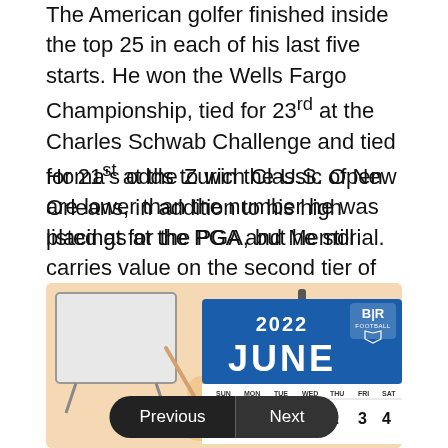The American golfer finished inside the top 25 in each of his last five starts. He won the Wells Fargo Championship, tied for 23rd at the Charles Schwab Challenge and tied for 21st at the Zurich Classic of New Orleans, in addition to his high placings at the PGA and Memorial.
Homa's odds to win the U.S. Open are lower than the number he was listed at for the PGA, but he still carries value on the second tier of golfers on the odds board.
At minimum, Homa should be considered as a nice piece for daily fantasy golf contests and for prop bets. He is +160 to finish in the top 20 and +400 to be in the top 10.
[Figure (illustration): Illustration showing a person at a whiteboard on the left, and a 2022 June calendar on the right with a B/R Football badge. Navigation buttons 'Previous' and 'Next' are overlaid at the bottom.]